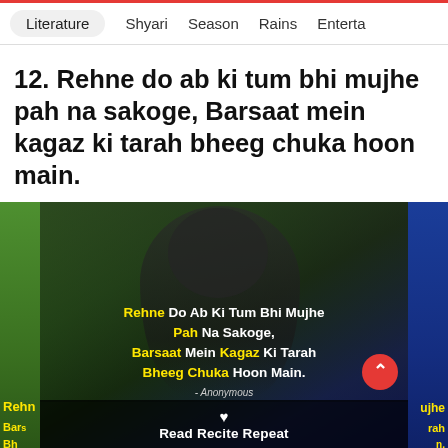Literature  Shyari  Season  Rains  Enterta
12. Rehne do ab ki tum bhi mujhe pah na sakoge, Barsaat mein kagaz ki tarah bheeg chuka hoon main.
[Figure (photo): Decorative shayari card image showing a man in a dark jacket against a green-to-blue gradient background with the text: Rehne Do Ab Ki Tum Bhi Mujhe Pah Na Sakoge, Barsaat Mein Kagaz Ki Tarah Bheeg Chuka Hoon Main. - Anonymous. Heart icon. Read Recite Repeat.]